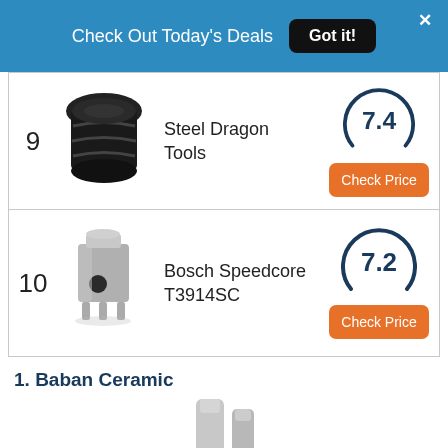Check Out Today's Deals  Got it!  ×
9 Steel Dragon Tools 7.4 Check Price
10 Bosch Speedcore T3914SC 7.2 Check Price
1. Baban Ceramic
[Figure (photo): Bottom portion of a drill bit / core bit accessory]